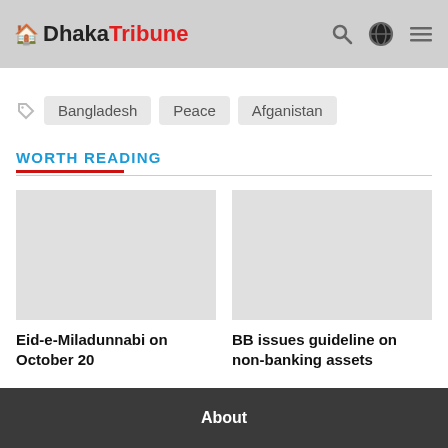Dhaka Tribune
Bangladesh
Peace
Afganistan
WORTH READING
Eid-e-Miladunnabi on October 20
BB issues guideline on non-banking assets
About